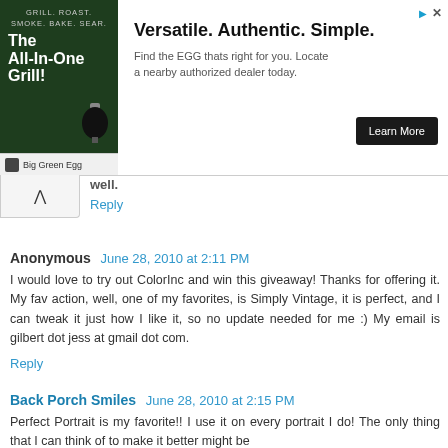[Figure (screenshot): Advertisement banner for Big Green Egg 'The All-In-One Grill' with tagline 'Versatile. Authentic. Simple.' and a Learn More button]
well.
Reply
Anonymous  June 28, 2010 at 2:11 PM
I would love to try out ColorInc and win this giveaway! Thanks for offering it. My fav action, well, one of my favorites, is Simply Vintage, it is perfect, and I can tweak it just how I like it, so no update needed for me :) My email is gilbert dot jess at gmail dot com.
Reply
Back Porch Smiles  June 28, 2010 at 2:15 PM
Perfect Portrait is my favorite!! I use it on every portrait I do! The only thing that I can think of to make it better might be